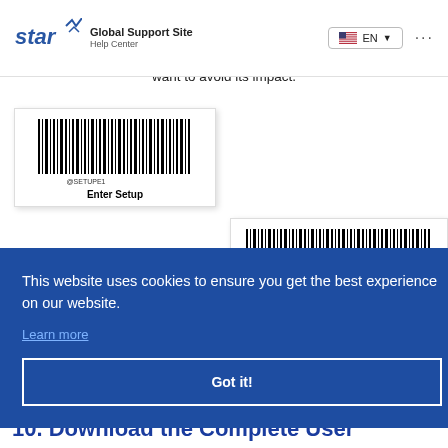Star Global Support Site Help Center — EN language selector
want to avoid its impact.
[Figure (other): Barcode image with label @SETUPE1 and caption Enter Setup]
Enter Setup
[Figure (other): Partial barcode card visible on right side]
ults
This website uses cookies to ensure you get the best experience on our website.
Learn more
Got it!
10. Download the Complete User